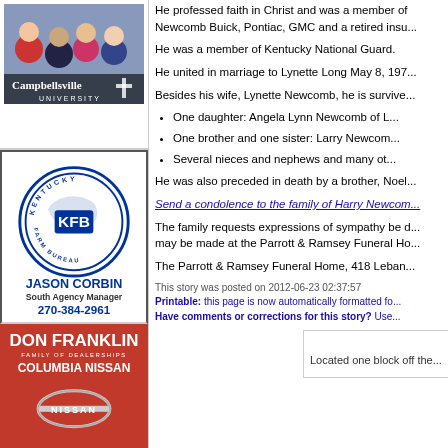[Figure (photo): Campbellsville University advertisement with group photo of students]
[Figure (logo): Kentucky Farm Bureau advertisement with KFB logo, Jason Corbin South Agency Manager, 270-384-2961]
[Figure (logo): Don Franklin Family of Dealerships Columbia Nissan advertisement with red background and Nissan logo]
He professed faith in Christ and was a member of Newcomb Buick, Pontiac, GMC and a retired insu...
He was a member of Kentucky National Guard.
He united in marriage to Lynette Long May 8, 197...
Besides his wife, Lynette Newcomb, he is survive...
One daughter: Angela Lynn Newcomb of L...
One brother and one sister: Larry Newcom...
Several nieces and nephews and many ot...
He was also preceded in death by a brother, Noel...
Send a condolence to the family of Harry Newcom...
The family requests expressions of sympathy be done... may be made at the Parrott & Ramsey Funeral Ho...
The Parrott & Ramsey Funeral Home, 418 Leban...
This story was posted on 2012-06-23 02:37:57
Printable: this page is now automatically formatted fo...
Have comments or corrections for this story? Use...
Griss...
Located one block off the...